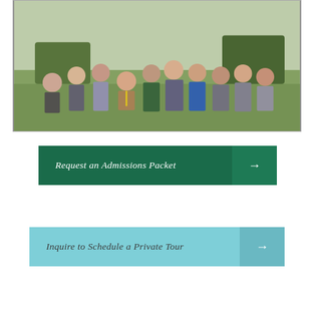[Figure (photo): Group photo of students and adults standing and kneeling outdoors on grass in daylight, wearing casual clothing including sweatshirts and athletic wear.]
Request an Admissions Packet →
Inquire to Schedule a Private Tour →